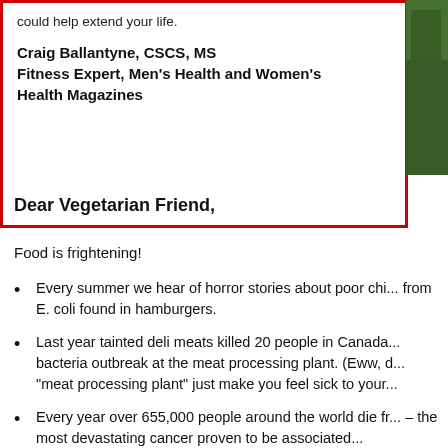could help extend your life.
Craig Ballantyne, CSCS, MS
Fitness Expert, Men's Health and Women's Health Magazines
[Figure (photo): Photo of a person, partially visible on the right side of the red-bordered box, showing green background/foliage]
Dear Vegetarian Friend,
Food is frightening!
Every summer we hear of horror stories about poor chi... from E. coli found in hamburgers.
Last year tainted deli meats killed 20 people in Canada... bacteria outbreak at the meat processing plant. (Eww, d... "meat processing plant" just make you feel sick to your...
Every year over 655,000 people around the world die fr... – the most devastating cancer proven to be associated...
And hundreds of thousands of meat-related food poison... and even in our own kitchen – all because of the health...